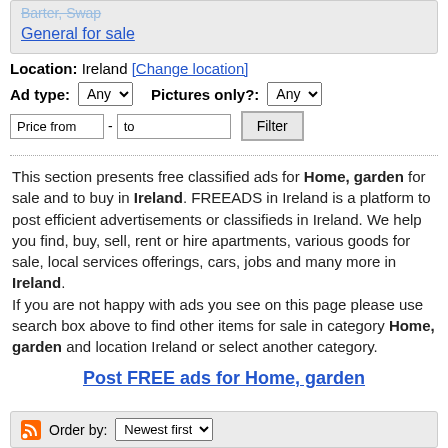Barter, Swap (strikethrough) / General for sale
Location: Ireland [Change location]
Ad type: Any | Pictures only?: Any
Price from - to | Filter
This section presents free classified ads for Home, garden for sale and to buy in Ireland. FREEADS in Ireland is a platform to post efficient advertisements or classifieds in Ireland. We help you find, buy, sell, rent or hire apartments, various goods for sale, local services offerings, cars, jobs and many more in Ireland. If you are not happy with ads you see on this page please use search box above to find other items for sale in category Home, garden and location Ireland or select another category.
Post FREE ads for Home, garden
Order by: Newest first